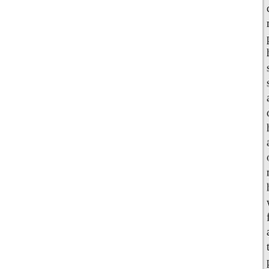cheerfully making progress, he s stooped and devoured him at one not his wife fixed a talismanic pe dissolution. The dragon, finding clothes were dried in the sun, res himself, and seeing great numbe his clothes, upon the abundant su
2
him, and took him to her abode i splendidly furnished, did not rec restored to the spot whence he w unexpectedly interrupted, and ag
A lofty mountain soon appear ascended these shady groves, thr delicious fragrance. Here he met kept by damsels of surpassing be the greatest fortitude to resist; if would be compelled to forward b resolved to pursue it.
The next day he reached the bor arose, and seizing Hatim in her a his eyes, and beheld around him